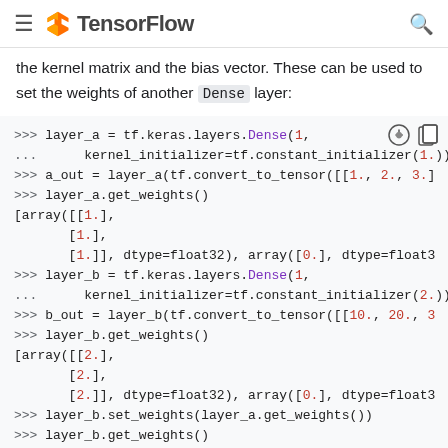TensorFlow
the kernel matrix and the bias vector. These can be used to set the weights of another Dense layer:
[Figure (screenshot): Code block showing Python/TensorFlow REPL session with layer_a and layer_b Dense layer creation, get_weights, and set_weights calls]